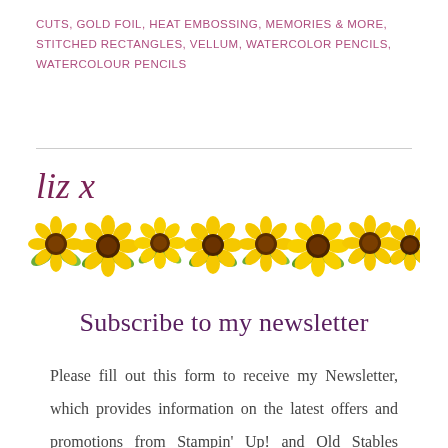CUTS, GOLD FOIL, HEAT EMBOSSING, MEMORIES & MORE, STITCHED RECTANGLES, VELLUM, WATERCOLOR PENCILS, WATERCOLOUR PENCILS
[Figure (illustration): A row of painted watercolor sunflowers forming a decorative horizontal border, with yellow petals, brown centers, and green leaves.]
liz x
Subscribe to my newsletter
Please fill out this form to receive my Newsletter, which provides information on the latest offers and promotions from Stampin' Up! and Old Stables Crafts, class information and